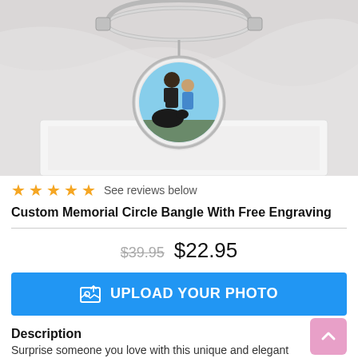[Figure (photo): Silver bangle bracelet with circular charm showing a photo of a person with a dog, displayed in a white gift box on marble background]
★★★★★ See reviews below
Custom Memorial Circle Bangle With Free Engraving
$39.95 $22.95
UPLOAD YOUR PHOTO
Description
Surprise someone you love with this unique and elegant